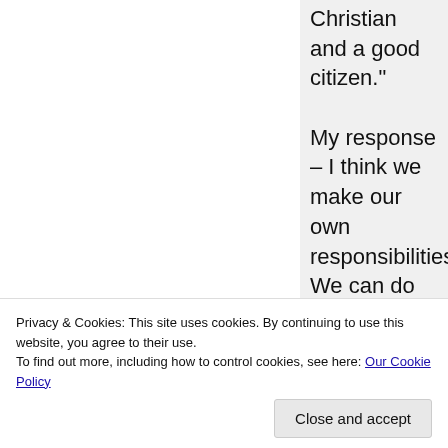Christian and a good citizen."

My response – I think we make our own responsibilities. We can do both or even just one or the other do. I think
Privacy & Cookies: This site uses cookies. By continuing to use this website, you agree to their use.
To find out more, including how to control cookies, see here: Our Cookie Policy
Close and accept